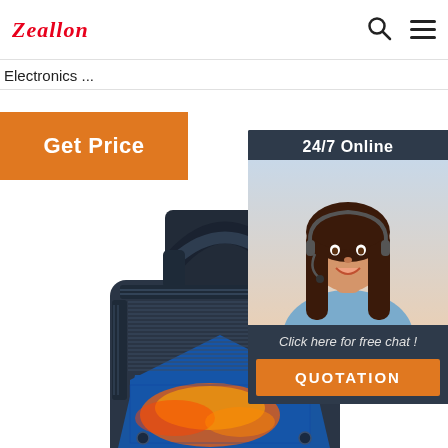Zeallon
Electronics ...
Get Price
[Figure (photo): Customer service agent widget with '24/7 Online' header, photo of smiling woman with headset, 'Click here for free chat!' text, and orange QUOTATION button]
[Figure (photo): Portable Bluetooth speaker with handle, dark blue/grey color with illuminated front grille showing colorful LED lights, close-up product shot]